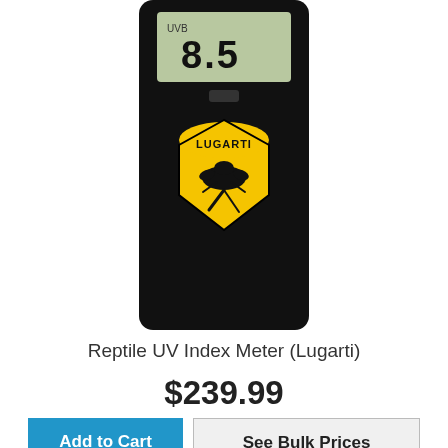[Figure (photo): Lugarti Reptile UV Index Meter device with LCD display showing UVB reading and yellow Lugarti shield logo on black body]
Reptile UV Index Meter (Lugarti)
$239.99
Add to Cart
See Bulk Prices
[Figure (photo): Ferguson Zones UV Index chart showing color gradient scale from zone I to IV with numbers 1 through 7]